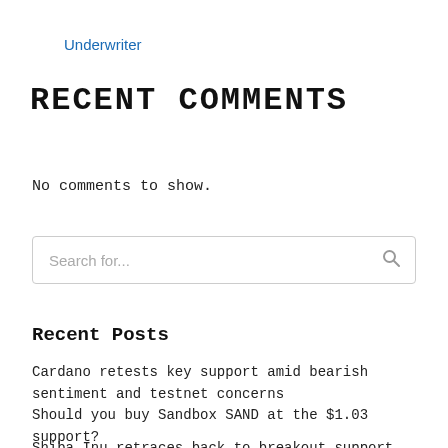Underwriter
RECENT COMMENTS
No comments to show.
Search for...
Recent Posts
Cardano retests key support amid bearish sentiment and testnet concerns
Should you buy Sandbox SAND at the $1.03 support?
Shiba Inu retraces back to breakout support —